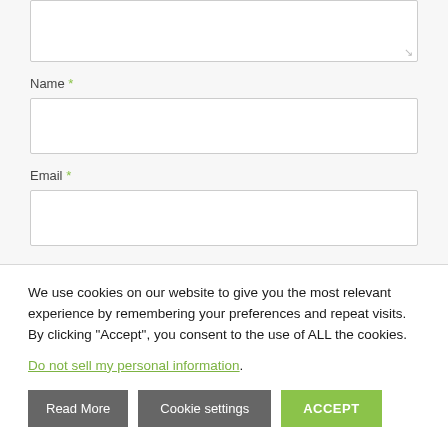[Figure (screenshot): Web form textarea input box (comment/message field), partially shown at top]
Name *
[Figure (screenshot): Name input field (empty text box)]
Email *
[Figure (screenshot): Email input field (empty text box)]
We use cookies on our website to give you the most relevant experience by remembering your preferences and repeat visits. By clicking “Accept”, you consent to the use of ALL the cookies.
Do not sell my personal information.
Read More
Cookie settings
ACCEPT